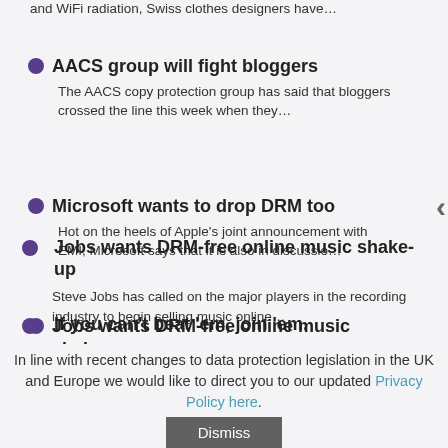and WiFi radiation, Swiss clothes designers have…
AACS group will fight bloggers
The AACS copy protection group has said that bloggers crossed the line this week when they…
Microsoft wants to drop DRM too
Hot on the heels of Apple's joint announcement with EMI, Microsoft says that it is also in discussio…
Jobs wants DRM-free online music shake-up
Steve Jobs has called on the major players in the recording industry to begin selling music online…
If you can't beat 'em, join 'em.
In line with recent changes to data protection legislation in the UK and Europe we would like to direct you to our updated Privacy Policy here.
Dismiss